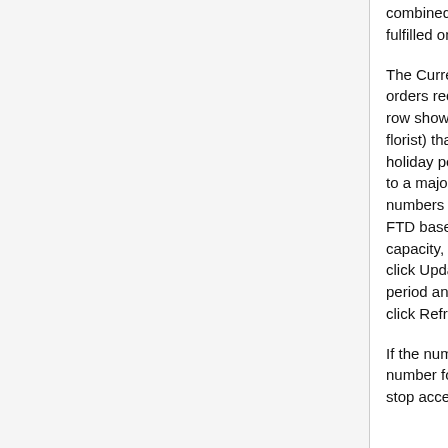combined number of FTD.com and florist-to-florist orders you fulfilled on that date for that year.
The Current Year Wire Orders section shows the number of orders received for the dates in the current year. The Capacity row shows the number of orders (FTD.com and florist-to-florist) that you anticipate you can fill for each date in the holiday period. If you are coming in to Holiday Capacity prior to a major floral holiday for the first time, there may already be numbers in the Capacity row; these are estimates provided by FTD based on historical data. If you want to change the capacity, simply change the number for one or more dates and click Update. Changes are immediate. If you are in a holiday period and want to see updated orders received for the period, click Refresh.
If the number of wire orders sent to you exceeds your capacity number for a delivery day in the holiday period, FTD.com will stop accepting orders for you for that day. If you